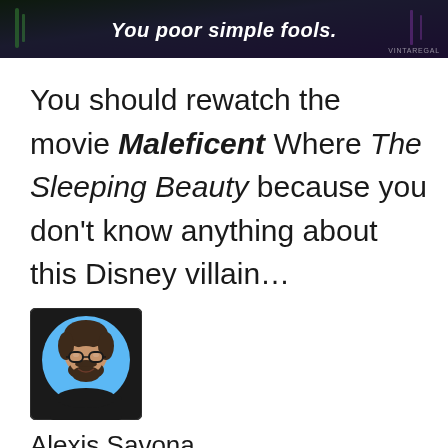[Figure (screenshot): Dark banner image showing the text 'You poor simple fools.' in bold italic white text over a dark background with subtle green and purple tones, with a small watermark reading 'VINTAREGAL' at bottom right.]
You should rewatch the movie Maleficent Where The Sleeping Beauty because you don't know anything about this Disney villain...
[Figure (illustration): Avatar illustration of a man with glasses and a beard, shown in a circular blue frame on a dark shirt background, displayed in a square thumbnail.]
Alexis Savona
Journalist